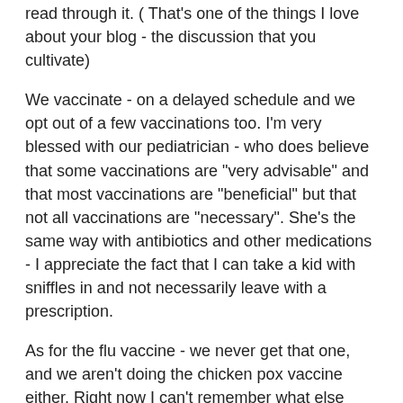read through it. ( That's one of the things I love about your blog - the discussion that you cultivate)
We vaccinate - on a delayed schedule and we opt out of a few vaccinations too. I'm very blessed with our pediatrician - who does believe that some vaccinations are "very advisable" and that most vaccinations are "beneficial" but that not all vaccinations are "necessary". She's the same way with antibiotics and other medications - I appreciate the fact that I can take a kid with sniffles in and not necessarily leave with a prescription.
As for the flu vaccine - we never get that one, and we aren't doing the chicken pox vaccine either. Right now I can't remember what else we've opted out of. But I do know that my one year old won't be getting his one-year vaccinations until he's at least 15 months old.